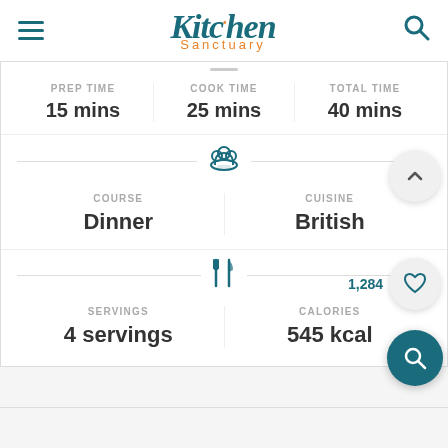[Figure (logo): Kitchen Sanctuary logo with stylized script text and orange dot accent]
PREP TIME
15 mins
COOK TIME
25 mins
TOTAL TIME
40 mins
COURSE
Dinner
CUISINE
British
1,284
SERVINGS
4 servings
CALORIES
545 kcal